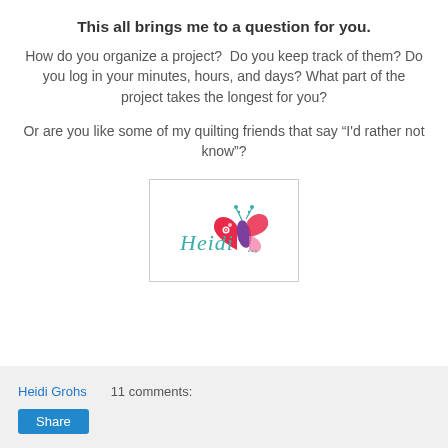This all brings me to a question for you.
How do you organize a project?  Do you keep track of them? Do you log in your minutes, hours, and days? What part of the project takes the longest for you?
Or are you like some of my quilting friends that say "I'd rather not know"?
[Figure (illustration): Signature card with cursive 'Heidi' text and a decorative butterfly/flower graphic in pink, purple, and teal.]
Heidi Grohs   11 comments:   Share